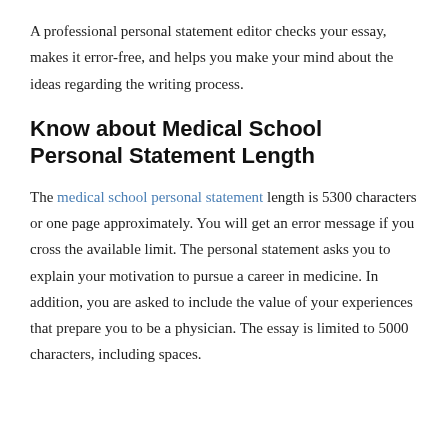A professional personal statement editor checks your essay, makes it error-free, and helps you make your mind about the ideas regarding the writing process.
Know about Medical School Personal Statement Length
The medical school personal statement length is 5300 characters or one page approximately. You will get an error message if you cross the available limit. The personal statement asks you to explain your motivation to pursue a career in medicine. In addition, you are asked to include the value of your experiences that prepare you to be a physician. The essay is limited to 5000 characters, including spaces.